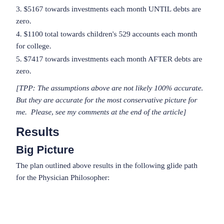3. $5167 towards investments each month UNTIL debts are zero.
4. $1100 total towards children's 529 accounts each month for college.
5. $7417 towards investments each month AFTER debts are zero.
[TPP: The assumptions above are not likely 100% accurate.  But they are accurate for the most conservative picture for me.  Please, see my comments at the end of the article]
Results
Big Picture
The plan outlined above results in the following glide path for the Physician Philosopher: